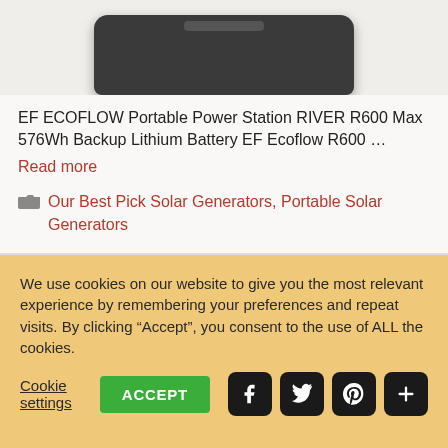[Figure (photo): Partial top view of a dark gray portable power station device (EF ECOFLOW RIVER R600 Max) cropped at the top of the page]
EF ECOFLOW Portable Power Station RIVER R600 Max 576Wh Backup Lithium Battery EF Ecoflow R600 …
Read more
Our Best Pick Solar Generators, Portable Solar Generators
We use cookies on our website to give you the most relevant experience by remembering your preferences and repeat visits. By clicking “Accept”, you consent to the use of ALL the cookies.
Cookie settings
ACCEPT
[Figure (illustration): Social media icons: Facebook, Twitter, Pinterest, and a share/plus button, all in dark rounded square buttons]